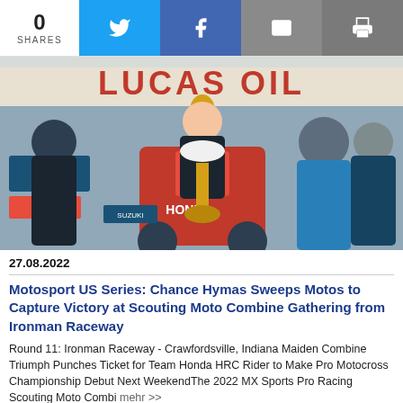0 SHARES
[Figure (photo): Chance Hymas holding a trophy on a Honda HRC motocross bike at Ironman Raceway, surrounded by team members in front of Lucas Oil banner.]
27.08.2022
Motosport US Series: Chance Hymas Sweeps Motos to Capture Victory at Scouting Moto Combine Gathering from Ironman Raceway
Round 11: Ironman Raceway - Crawfordsville, Indiana Maiden Combine Triumph Punches Ticket for Team Honda HRC Rider to Make Pro Motocross Championship Debut Next WeekendThe 2022 MX Sports Pro Racing Scouting Moto Combi mehr >>
[Figure (photo): Nürburgring event teaser showing '05 NÜRBURGRING' text in yellow on dark blue background with people below.]